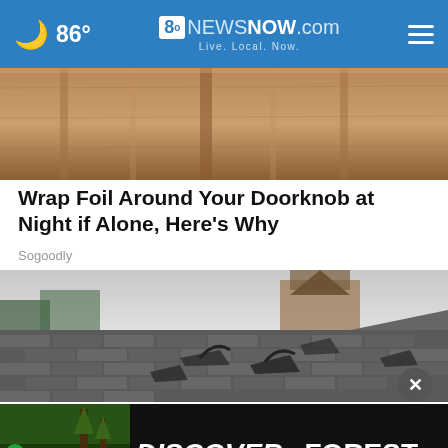86° 8NewsNow.com Live. Local. Now.
[Figure (photo): Close-up photo of a wood-grain door with doorknob area visible]
Wrap Foil Around Your Doorknob at Night if Alone, Here's Why
Sogoodly
[Figure (photo): Photo of a damaged roof with curling and missing shingles, house visible in background]
[Figure (other): Discover the Forest .org advertisement banner with Ad Council and US Forest Service logos]